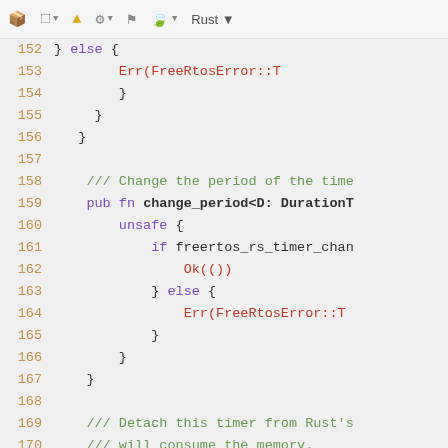[Figure (screenshot): IDE toolbar with icons for packages, cube, warning, settings, flag, leaf, and Rust language selector]
152    } else {
153        Err(FreeRtosError::T
154        }
155    }
156  }
157
158    /// Change the period of the time
159    pub fn change_period<D: DurationT
160        unsafe {
161            if freertos_rs_timer_chan
162                Ok(())
163            } else {
164                Err(FreeRtosError::T
165            }
166        }
167    }
168
169    /// Detach this timer from Rust's
170    /// will consume the memory.